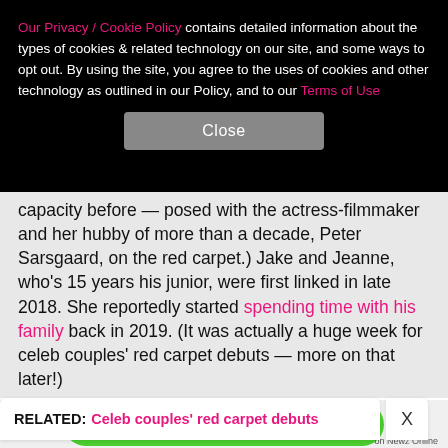Our Privacy / Cookie Policy contains detailed information about the types of cookies & related technology on our site, and some ways to opt out. By using the site, you agree to the uses of cookies and other technology as outlined in our Policy, and to our Terms of Use
Close
capacity before — posed with the actress-filmmaker and her hubby of more than a decade, Peter Sarsgaard, on the red carpet.) Jake and Jeanne, who's 15 years his junior, were first linked in late 2018. She reportedly started spending time with his family back in 2019. (It was actually a huge week for celeb couples' red carpet debuts — more on that later!)
RELATED: Celeb couples' red carpet debuts
NEXT →